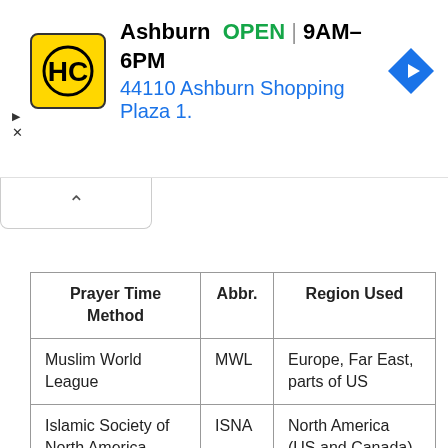[Figure (screenshot): Ad banner for HC store in Ashburn: logo (yellow square with HC), text 'Ashburn OPEN 9AM–6PM / 44110 Ashburn Shopping Plaza 1.' with a blue navigation diamond icon, and close/play controls]
| Prayer Time Method | Abbr. | Region Used |
| --- | --- | --- |
| Muslim World League | MWL | Europe, Far East, parts of US |
| Islamic Society of North America | ISNA | North America (US and Canada) |
| Egyptian General Authority of Survey | Egypt | Africa, Syria, Lebanon, Malaysia |